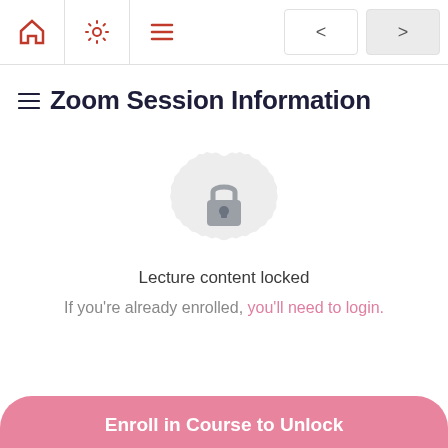[Figure (screenshot): Navigation bar with home icon, settings icon, menu icon on the left, and two navigation buttons (back/forward) on the right]
Zoom Session Information
[Figure (illustration): A lock icon centered inside a decorative circular badge shape with a scalloped/gear-like edge, rendered in light gray tones, indicating locked content]
Lecture content locked
If you're already enrolled, you'll need to login.
Enroll in Course to Unlock